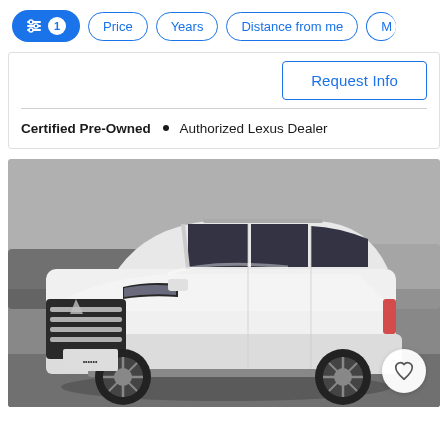Filter buttons: [active filter with icon and count 1], Price, Years, Distance from me, M...
Request Info
Certified Pre-Owned • Authorized Lexus Dealer
[Figure (photo): White Lexus LX SUV photographed from a front three-quarter angle in a dealer lot. The vehicle is large, white in color, with chrome grille accents and dark alloy wheels.]